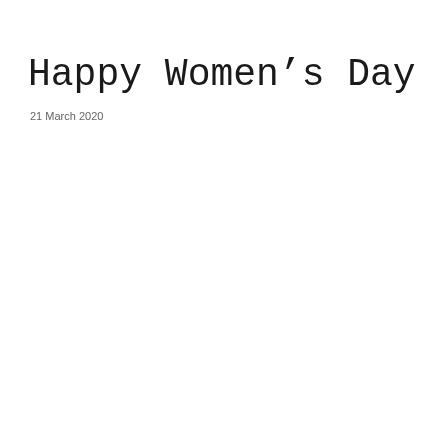Happy Women's Day ! :
21 March 2020